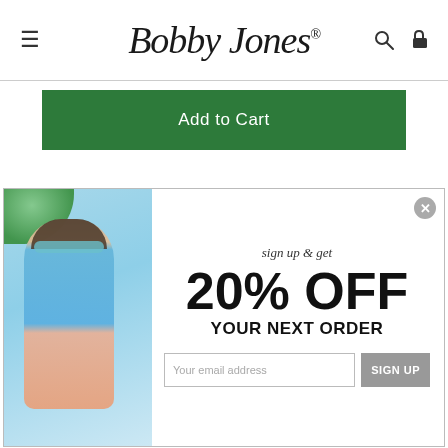Bobby Jones
Add to Cart
[Figure (screenshot): Popup modal with man in light blue quarter-zip sweater and salmon shorts, sign up & get 20% OFF YOUR NEXT ORDER, email field and SIGN UP button]
sign up & get
20% OFF
YOUR NEXT ORDER
Your email address
SIGN UP